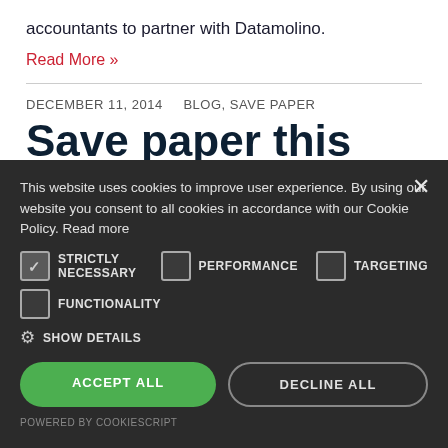accountants to partner with Datamolino.
Read More »
DECEMBER 11, 2014   BLOG, SAVE PAPER
Save paper this
This website uses cookies to improve user experience. By using our website you consent to all cookies in accordance with our Cookie Policy. Read more
STRICTLY NECESSARY   PERFORMANCE   TARGETING
FUNCTIONALITY
SHOW DETAILS
ACCEPT ALL
DECLINE ALL
POWERED BY COOKIESCRIPT